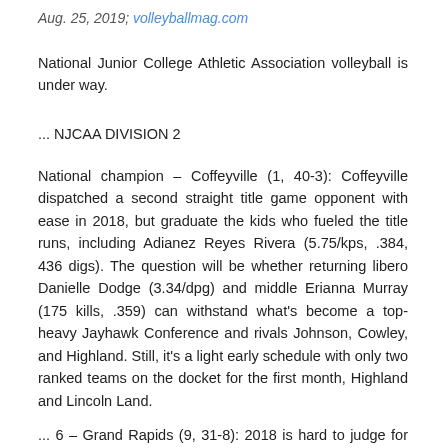Aug. 25, 2019; volleyballmag.com
National Junior College Athletic Association volleyball is under way.
... NJCAA DIVISION 2
National champion – Coffeyville (1, 40-3): Coffeyville dispatched a second straight title game opponent with ease in 2018, but graduate the kids who fueled the title runs, including Adianez Reyes Rivera (5.75/kps, .384, 436 digs). The question will be whether returning libero Danielle Dodge (3.34/dpg) and middle Erianna Murray (175 kills, .359) can withstand what's become a top-heavy Jayhawk Conference and rivals Johnson, Cowley, and Highland. Still, it's a light early schedule with only two ranked teams on the docket for the first month, Highland and Lincoln Land.
... 6 – Grand Rapids (9, 31-8): 2018 is hard to judge for the